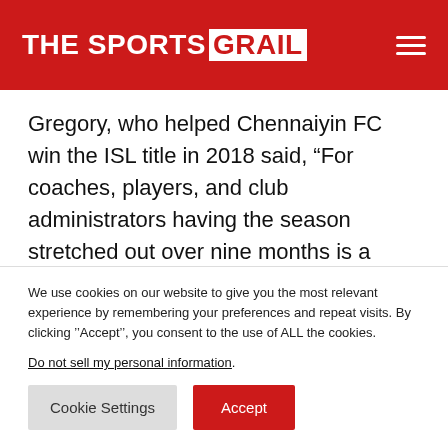THE SPORTS GRAIL
Gregory, who helped Chennaiyin FC win the ISL title in 2018 said, “For coaches, players, and club administrators having the season stretched out over nine months is a much better format. It will be tremendously exciting for everyone to be involved in a long-term project. As a coach or player, I would be incredibly excited about playing the season spread
We use cookies on our website to give you the most relevant experience by remembering your preferences and repeat visits. By clicking ’’Accept’’, you consent to the use of ALL the cookies.
Do not sell my personal information.
Cookie Settings   Accept